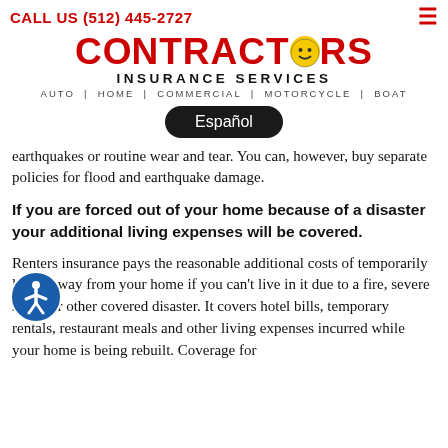CALL US (512) 445-2727
[Figure (logo): Contractors Insurance Services logo with red bold text, smiley face replacing O, and tagline AUTO | HOME | COMMERCIAL | MOTORCYCLE | BOAT]
Español
earthquakes or routine wear and tear. You can, however, buy separate policies for flood and earthquake damage.
If you are forced out of your home because of a disaster your additional living expenses will be covered.
Renters insurance pays the reasonable additional costs of temporarily living away from your home if you can't live in it due to a fire, severe storm or other covered disaster. It covers hotel bills, temporary rentals, restaurant meals and other living expenses incurred while your home is being rebuilt. Coverage for